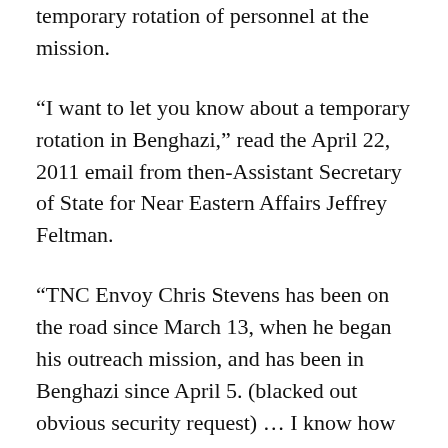temporary rotation of personnel at the mission.
“I want to let you know about a temporary rotation in Benghazi,” read the April 22, 2011 email from then-Assistant Secretary of State for Near Eastern Affairs Jeffrey Feltman.
“TNC Envoy Chris Stevens has been on the road since March 13, when he began his outreach mission, and has been in Benghazi since April 5. (blacked out obvious security request) … I know how important it is to have continual coverage (security conditions permitting) in Benghazi. I will